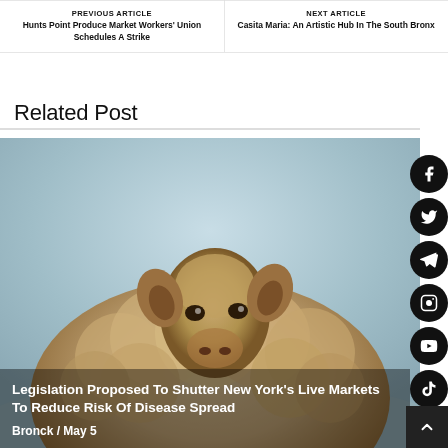PREVIOUS ARTICLE
Hunts Point Produce Market Workers' Union Schedules A Strike
NEXT ARTICLE
Casita Maria: An Artistic Hub In The South Bronx
Related Post
[Figure (photo): Close-up photo of a sheep facing the camera against a light blue-grey sky background.]
Legislation Proposed To Shutter New York's Live Markets To Reduce Risk Of Disease Spread
Bronck / May 5